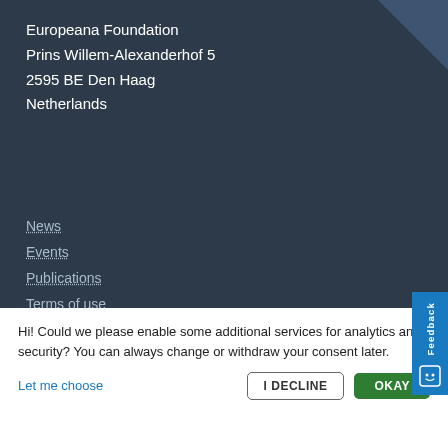Europeana Foundation
Prins Willem-Alexanderhof 5
2595 BE Den Haag
Netherlands
News
Events
Publications
Terms of use
Privacy policy
Accessibility
Cookies
Hi! Could we please enable some additional services for analytics and security? You can always change or withdraw your consent later.
Let me choose
I DECLINE
OKAY